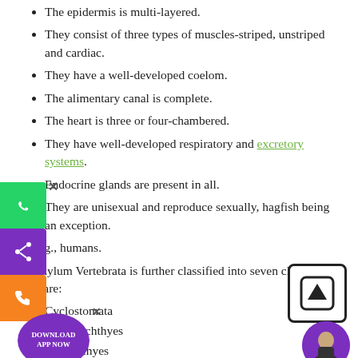The epidermis is multi-layered.
They consist of three types of muscles-striped, unstriped and cardiac.
They have a well-developed coelom.
The alimentary canal is complete.
The heart is three or four-chambered.
They have well-developed respiratory and excretory systems.
Endocrine glands are present in all.
They are unisexual and reproduce sexually, hagfish being an exception.
or e.g., humans.
ubphylum Vertebrata is further classified into seven classes. hey are:
1. Cyclostomata
2. Chondrichthyes
3. Osteichthyes
4. Amphibia
5. Reptilia
6. Aves